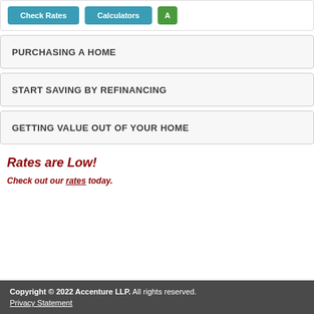[Figure (screenshot): Top navigation button bar with teal 'Check Rates' button, teal 'Calculators' button, and partial green button]
PURCHASING A HOME
START SAVING BY REFINANCING
GETTING VALUE OUT OF YOUR HOME
Rates are Low!
Check out our rates today.
Copyright © 2022 Accenture LLP. All rights reserved. Privacy Statement